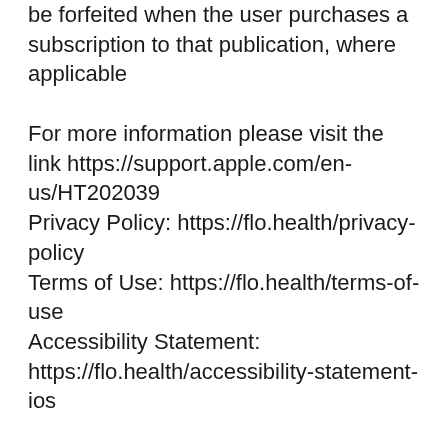be forfeited when the user purchases a subscription to that publication, where applicable
For more information please visit the link https://support.apple.com/en-us/HT202039
Privacy Policy: https://flo.health/privacy-policy
Terms of Use: https://flo.health/terms-of-use
Accessibility Statement: https://flo.health/accessibility-statement-ios
Flo's predictions should not be used as a form of birth control/contraception.
Download Flo period diary
support@owhealth.com